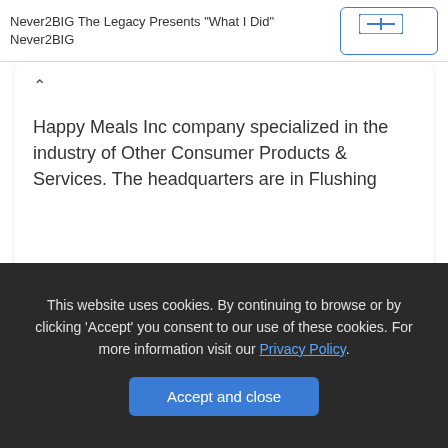Never2BIG The Legacy Presents "What I Did" Never2BIG
Happy Meals Inc company specialized in the industry of Other Consumer Products & Services. The headquarters are in Flushing
This website uses cookies. By continuing to browse or by clicking 'Accept' you consent to our use of these cookies. For more information visit our Privacy Policy.